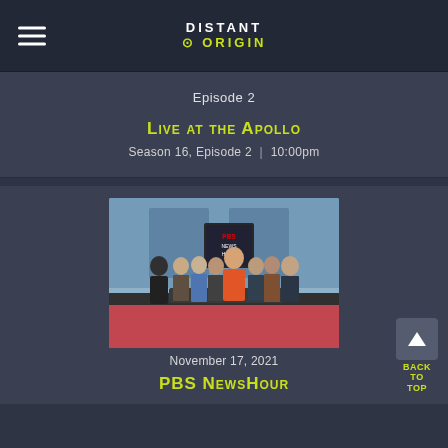DISTANT ORIGIN
Episode 2
Live at the Apollo
Season 16, Episode 2  |  10:00pm
[Figure (photo): Group photo of PBS NewsHour anchors and correspondents standing on the news set with 'PBS NewsHour' logo visible in the background]
November 17, 2021
PBS NewsHour